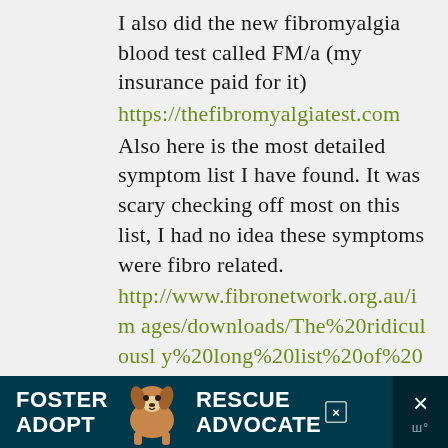I also did the new fibromyalgia blood test called FM/a (my insurance paid for it) https://thefibromyalgiatest.com Also here is the most detailed symptom list I have found. It was scary checking off most on this list, I had no idea these symptoms were fibro related. http://www.fibronetwork.org.au/images/downloads/The%20ridiculously%20long%20list%20of%20Fibro%20symptoms.pdf
[Figure (screenshot): Advertisement banner: FOSTER ADOPT with a dog image and RESCUE ADVOCATE text on dark teal background, with a dismiss X button on the right]